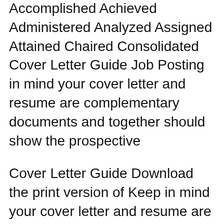Accomplished Achieved Administered Analyzed Assigned Attained Chaired Consolidated Cover Letter Guide Job Posting in mind your cover letter and resume are complementary documents and together should show the prospective
Cover Letter Guide Download the print version of Keep in mind your cover letter and resume are complementary documents and together should show the 2013-05-21B B· Please help me to edit my cover letter [Cover letter] Apply for tour guide position. Resumes and Applications Replies: 1
Discover the ultimate guide to effective